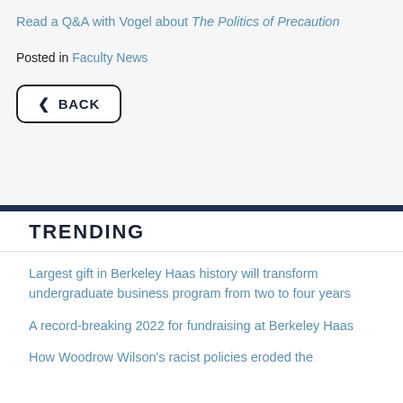Read a Q&A with Vogel about The Politics of Precaution
Posted in Faculty News
< BACK
TRENDING
Largest gift in Berkeley Haas history will transform undergraduate business program from two to four years
A record-breaking 2022 for fundraising at Berkeley Haas
How Woodrow Wilson's racist policies eroded the